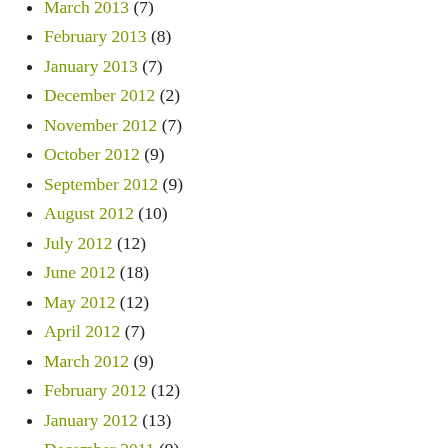March 2013 (7)
February 2013 (8)
January 2013 (7)
December 2012 (2)
November 2012 (7)
October 2012 (9)
September 2012 (9)
August 2012 (10)
July 2012 (12)
June 2012 (18)
May 2012 (12)
April 2012 (7)
March 2012 (9)
February 2012 (12)
January 2012 (13)
December 2011 (9)